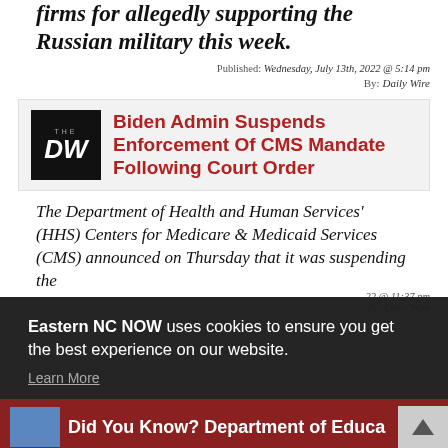firms for allegedly supporting the Russian military this week.
Published: Wednesday, July 13th, 2022 @ 5:14 pm
By: Daily Wire
Biden Admin Suspends Enforcement Of CMS Mandate Following Court Order
The Department of Health and Human Services' (HHS) Centers for Medicare & Medicaid Services (CMS) announced on Thursday that it was suspending the
...cine
...22 @ 11:37 pm
By: Daily Wire
Eastern NC NOW uses cookies to ensure you get the best experience on our website.
Learn More
Got it!
Did You Know? Department of Educa...